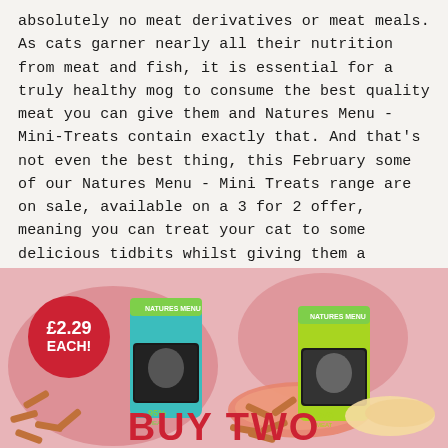absolutely no meat derivatives or meat meals. As cats garner nearly all their nutrition from meat and fish, it is essential for a truly healthy mog to consume the best quality meat you can give them and Natures Menu - Mini-Treats contain exactly that. And that's not even the best thing, this February some of our Natures Menu - Mini Treats range are on sale, available on a 3 for 2 offer, meaning you can treat your cat to some delicious tidbits whilst giving them a beautiful nutritional boost at the same time.
[Figure (photo): Promotional image showing two Natures Menu Mini-Treats cat treat packages (one teal/salmon flavour and one green/chicken flavour), each showing 95% meat content, alongside raw salmon and chicken pieces, with scattered treat sticks. A red price badge reads £2.29 EACH! Bottom text reads BUY TWO in red.]